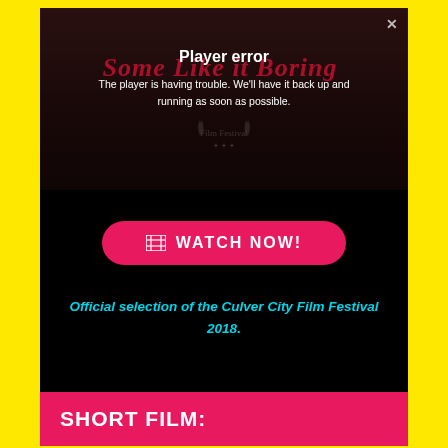[Figure (screenshot): Video player showing a dark scene with error overlay. The background shows a street scene with a red decorative italic title 'Some Like It Boring' and a film festival laurel watermark. A player error dialog reads 'Player error' and 'The player is having trouble. We'll have it back up and running as soon as possible.']
WATCH NOW!
Official selection of the Culver City Film Festival 2018.
SHORT FILM: